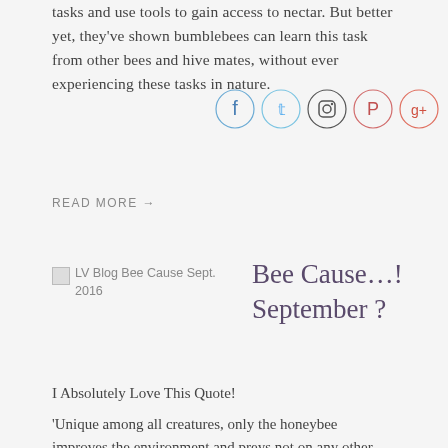tasks and use tools to gain access to nectar. But better yet, they've shown bumblebees can learn this task from other bees and hive mates, without ever experiencing these tasks in nature.
[Figure (infographic): Social media share icons: Facebook (blue circle), Twitter (light blue circle), Instagram (dark circle), Pinterest (red circle), Google+ (red circle)]
READ MORE →
[Figure (photo): Broken image placeholder: LV Blog Bee Cause Sept. 2016]
Bee Cause…! September ?
I Absolutely Love This Quote!
'Unique among all creatures, only the honeybee improves the environment and preys not on any other species…' – Royden Brown
Ten Fun Facts About Honeybees!
Honeybees, scientifically known as Apis mellifera (meaning